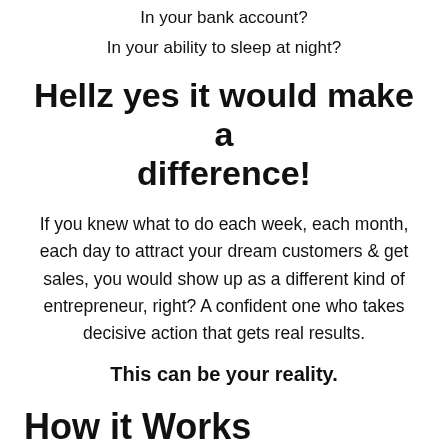In your bank account?
In your ability to sleep at night?
Hellz yes it would make a difference!
If you knew what to do each week, each month, each day to attract your dream customers & get sales, you would show up as a different kind of entrepreneur, right? A confident one who takes decisive action that gets real results.
This can be your reality.
How it Works